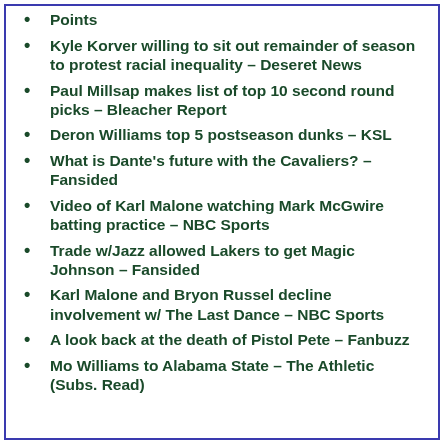Points
Kyle Korver willing to sit out remainder of season to protest racial inequality – Deseret News
Paul Millsap makes list of top 10 second round picks – Bleacher Report
Deron Williams top 5 postseason dunks – KSL
What is Dante's future with the Cavaliers? – Fansided
Video of Karl Malone watching Mark McGwire batting practice – NBC Sports
Trade w/Jazz allowed Lakers to get Magic Johnson – Fansided
Karl Malone and Bryon Russel decline involvement w/ The Last Dance – NBC Sports
A look back at the death of Pistol Pete – Fanbuzz
Mo Williams to Alabama State – The Athletic (Subs. Read)